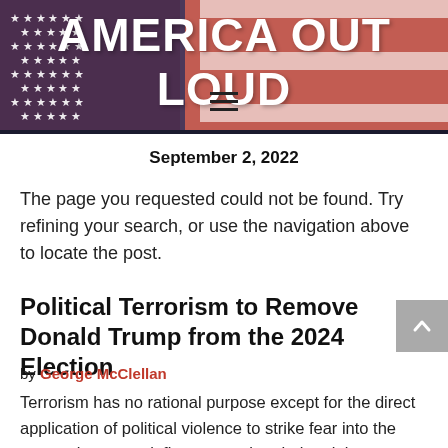[Figure (illustration): America Out Loud website header banner with red background and American flag motif showing stars and stripes, with the site title 'AMERICA OUT LOUD' in large white bold text]
AMERICA OUT LOUD
September 2, 2022
The page you requested could not be found. Try refining your search, or use the navigation above to locate the post.
Political Terrorism to Remove Donald Trump from the 2024 Election
by George McClellan
Terrorism has no rational purpose except for the direct application of political violence to strike fear into the targeted group to influence or alter their opinions so they will withdraw from the field and concede all political issues